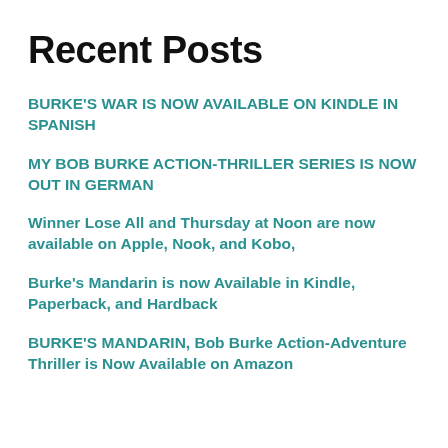Recent Posts
BURKE'S WAR IS NOW AVAILABLE ON KINDLE IN SPANISH
MY BOB BURKE ACTION-THRILLER SERIES IS NOW OUT IN GERMAN
Winner Lose All and Thursday at Noon are now available on Apple, Nook, and Kobo,
Burke's Mandarin is now Available in Kindle, Paperback, and Hardback
BURKE'S MANDARIN, Bob Burke Action-Adventure Thriller is Now Available on Amazon